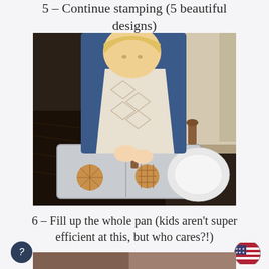5 – Continue stamping (5 beautiful designs)
[Figure (photo): Young blonde girl wearing an apron stamping cookie dough on a silver baking sheet on a dark kitchen floor, with two stamped cookies visible and wooden stamps nearby, a white plate to the right]
6 – Fill up the whole pan (kids aren't super efficient at this, but who cares?!)
[Figure (photo): Partial view of another photo at the bottom of the page, partially cropped]
[Figure (logo): Dark circular button with question mark icon (bottom left)]
[Figure (logo): US flag emoji/icon (bottom right)]